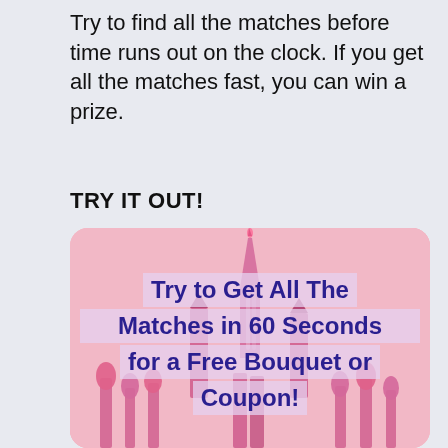Try to find all the matches before time runs out on the clock. If you get all the matches fast, you can win a prize.
TRY IT OUT!
[Figure (illustration): Pink-background promotional image with bold dark blue text overlaid on a semi-transparent light purple/pink stripe. Text reads: 'Try to Get All The Matches in 60 Seconds for a Free Bouquet or Coupon!' with pink flower/tulip shapes in the background.]